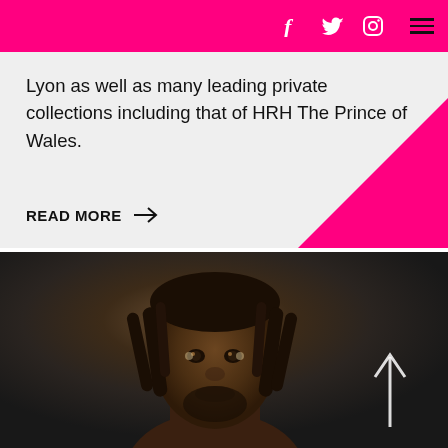[social icons: Facebook, Twitter, Instagram] [hamburger menu]
Lyon as well as many leading private collections including that of HRH The Prince of Wales.
READ MORE →
[Figure (photo): Portrait photograph of a Black man with dreadlocks, looking directly at the camera against a dark grey background. An upward-pointing arrow is overlaid in the lower right of the image.]